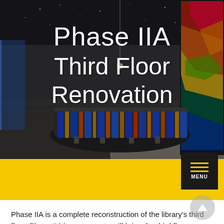[Figure (photo): Interior photo of a library third floor renovation showing a curved striped sofa/seating unit in the center, dark ceiling with star-like lights, colorful stained-glass style artwork panel on the right wall, and patterned dark carpet flooring.]
Phase IIA Third Floor Renovation
Phase IIA is a complete reconstruction of the library's third floor. Phase IIA improvements will bring the third floor space in line